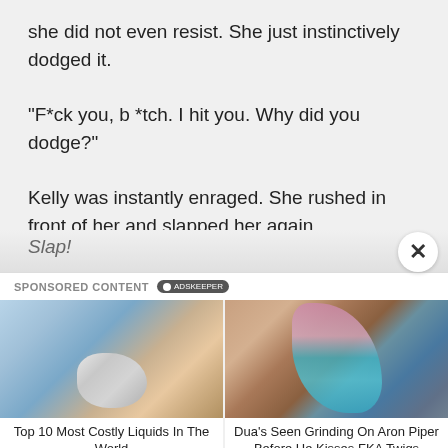she did not even resist. She just instinctively dodged it.
“F*ck you, b *tch. I hit you. Why did you dodge?”
Kelly was instantly enraged. She rushed in front of her and slapped her again.
Slap!
SPONSORED CONTENT ADSKEEPER
[Figure (photo): Close-up photo of a silver/chrome liquid metal droplet shape being held by fingers]
Top 10 Most Costly Liquids In The World
[Figure (photo): Photo of a woman in a pink hat and plaid shirt with teal top, leaning back outdoors near water and rocks]
Dua's Seen Grinding On Aron Piper Before He Kisses FKA Twigs